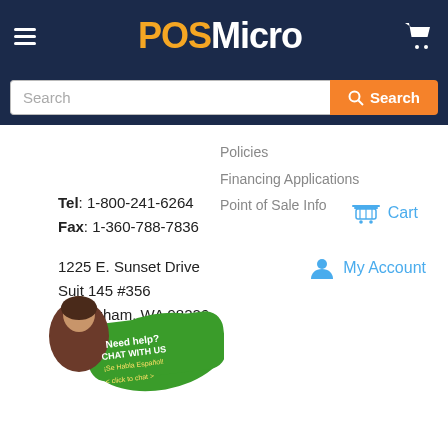POSMicro
Search
Policies
Financing Applications
Point of Sale Info
Tel: 1-800-241-6264
Fax: 1-360-788-7836
1225 E. Sunset Drive
Suit 145 #356
Bellingham, WA 98226
Cart
My Account
[Figure (photo): Customer service chat widget with woman image, green button reading 'Need help? CHAT WITH US ¡Se Habla Español! < click to chat >']